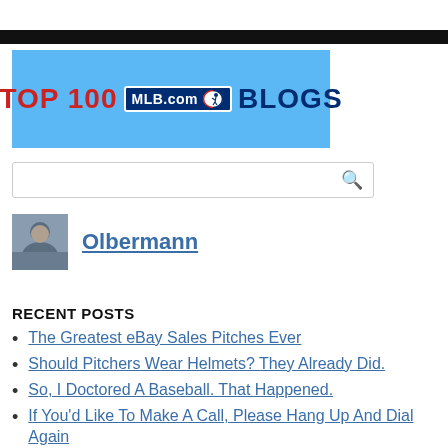[Figure (logo): Top 100 MLB.com Blogs banner logo on light blue background with red text 'TOP 100', MLB.com badge, and dark blue 'BLOGS' text]
Search input box
[Figure (photo): Profile photo of Olbermann]
Olbermann
RECENT POSTS
The Greatest eBay Sales Pitches Ever
Should Pitchers Wear Helmets? They Already Did.
So, I Doctored A Baseball. That Happened.
If You'd Like To Make A Call, Please Hang Up And Dial Again
Meet THE Kid In THE Jackie Robinson Photo (Updated: Make That Six Photos!)